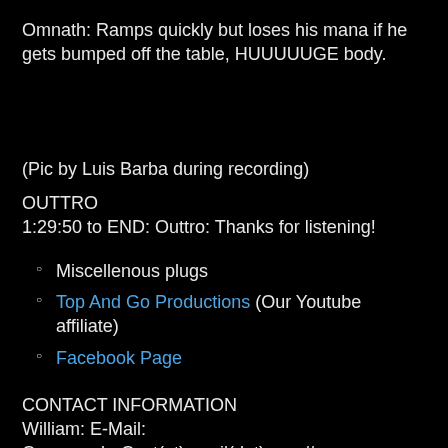Omnath: Ramps quickly but loses his mana if he gets bumped off the table, HUUUUUGE body.
(Pic by Luis Barba during recording)
OUTTRO
1:29:50 to END: Outtro: Thanks for listening!
Miscellenous plugs
Top And Go Productions (Our Youtube affiliate)
Facebook Page
CONTACT INFORMATION
William: E-Mail: CommanderCast(at)gmail(dot)com //